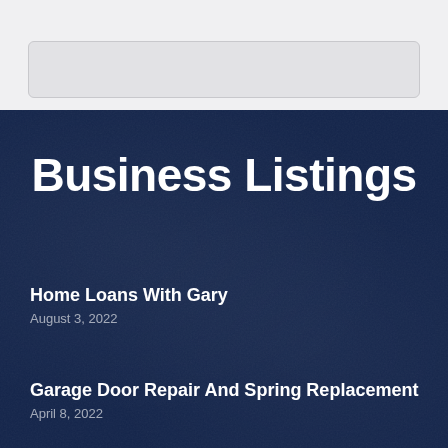[Figure (other): Top light gray section with a card/image placeholder element]
Business Listings
Home Loans With Gary
August 3, 2022
Garage Door Repair And Spring Replacement
April 8, 2022